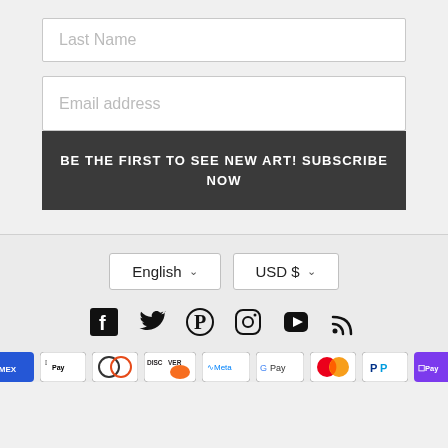Last Name
Email address
BE THE FIRST TO SEE NEW ART! SUBSCRIBE NOW
English
USD $
[Figure (other): Social media icons: Facebook, Twitter, Pinterest, Instagram, YouTube, RSS]
[Figure (other): Payment method badges: Amex, Apple Pay, Diners Club, Discover, Meta Pay, Google Pay, Mastercard, PayPal, Shop Pay]